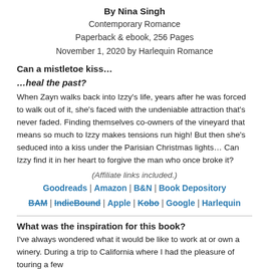By Nina Singh
Contemporary Romance
Paperback & ebook, 256 Pages
November 1, 2020 by Harlequin Romance
Can a mistletoe kiss…
…heal the past?
When Zayn walks back into Izzy's life, years after he was forced to walk out of it, she's faced with the undeniable attraction that's never faded. Finding themselves co-owners of the vineyard that means so much to Izzy makes tensions run high! But then she's seduced into a kiss under the Parisian Christmas lights… Can Izzy find it in her heart to forgive the man who once broke it?
(Affiliate links included.)
Goodreads | Amazon | B&N | Book Depository | BAM | IndieBound | Apple | Kobo | Google | Harlequin
What was the inspiration for this book?
I've always wondered what it would be like to work at or own a winery. During a trip to California where I had the pleasure of touring a few